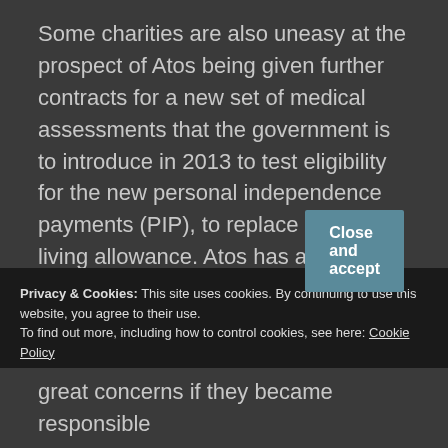Some charities are also uneasy at the prospect of Atos being given further contracts for a new set of medical assessments that the government is to introduce in 2013 to test eligibility for the new personal independence payments (PIP), to replace disability living allowance. Atos has already carried out some trial assessments for this test, with G4S.
Privacy & Cookies: This site uses cookies. By continuing to use this website, you agree to their use.
To find out more, including how to control cookies, see here: Cookie Policy
Close and accept
great concerns if they became responsible